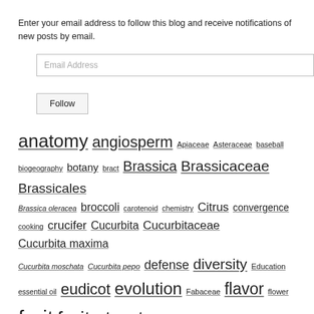Enter your email address to follow this blog and receive notifications of new posts by email.
[Figure (other): Email Address input field (text box)]
[Figure (other): Follow button]
anatomy angiosperm Apiaceae Asteraceae baseball biogeography botany bract Brassica Brassicaceae Brassicales Brassica oleracea broccoli carotenoid chemistry Citrus convergence cooking crucifer Cucurbita Cucurbitaceae Cucurbita maxima Cucurbita moschata Cucurbita pepo defense diversity Education essential oil eudicot evolution Fabaceae flavor flower fruit fruit structure genetics gluten free grass greens history Jeanne L. D. Osnas kale Katherine Preston Lamiaceae Leaves legumes monocot morphology nectarine peach pepper phylogenetic relationships phylogeny